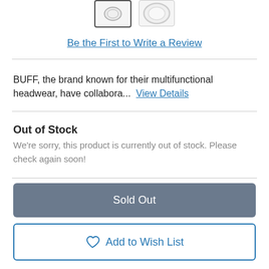[Figure (photo): Two product thumbnail images of headwear items, partially visible at top of page]
Be the First to Write a Review
BUFF, the brand known for their multifunctional headwear, have collabora... View Details
Out of Stock
We're sorry, this product is currently out of stock. Please check again soon!
Sold Out
Add to Wish List